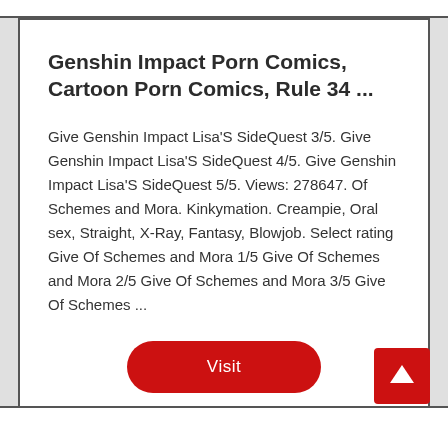Genshin Impact Porn Comics, Cartoon Porn Comics, Rule 34 ...
Give Genshin Impact Lisa'S SideQuest 3/5. Give Genshin Impact Lisa'S SideQuest 4/5. Give Genshin Impact Lisa'S SideQuest 5/5. Views: 278647. Of Schemes and Mora. Kinkymation. Creampie, Oral sex, Straight, X-Ray, Fantasy, Blowjob. Select rating Give Of Schemes and Mora 1/5 Give Of Schemes and Mora 2/5 Give Of Schemes and Mora 3/5 Give Of Schemes ...